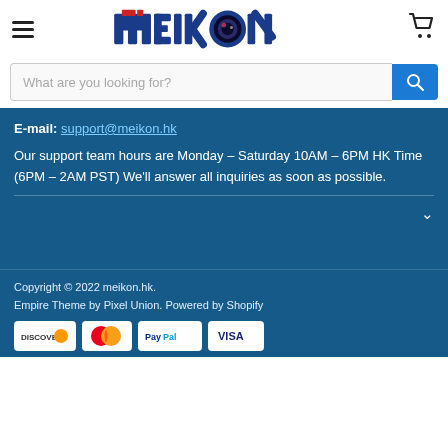Meikon - navigation and logo header
What are you looking for?
E-mail: support@meikon.hk
Our support team hours are Monday – Saturday 10AM – 6PM HK Time (6PM – 2AM PST) We'll answer all inquiries as soon as possible.
Copyright © 2022 meikon.hk.
Empire Theme by Pixel Union. Powered by Shopify